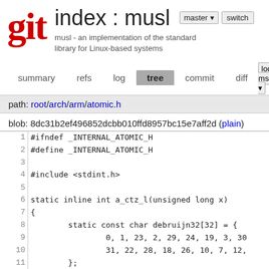[Figure (logo): Git logo in dark red serif font]
index : musl
musl - an implementation of the standard library for Linux-based systems
summary  refs  log  tree  commit  diff  log msg
path: root/arch/arm/atomic.h
blob: 8dc31b2ef496852dcbb010ffd8957bc15e7aff2d (plain)
| line | code |
| --- | --- |
| 1 | #ifndef _INTERNAL_ATOMIC_H |
| 2 | #define _INTERNAL_ATOMIC_H |
| 3 |  |
| 4 | #include <stdint.h> |
| 5 |  |
| 6 | static inline int a_ctz_l(unsigned long x) |
| 7 | { |
| 8 |         static const char debruijn32[32] = { |
| 9 |                 0, 1, 23, 2, 29, 24, 19, 3, 30 |
| 10 |                 31, 22, 28, 18, 26, 10, 7, 12, |
| 11 |         }; |
| 12 |         return debruijn32[(x&-x)*0x076be629 >> |
| 13 | } |
| 14 |  |
| 15 | static inline int a_ctz_64(uint64_t x) |